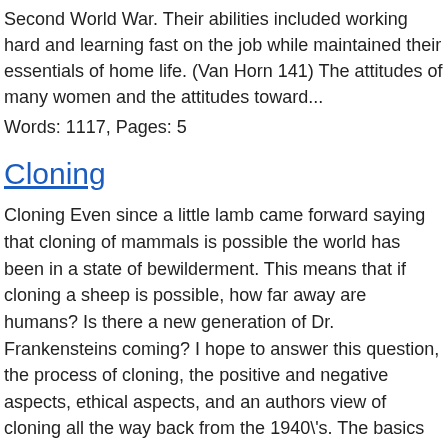Second World War. Their abilities included working hard and learning fast on the job while maintained their essentials of home life. (Van Horn 141) The attitudes of many women and the attitudes toward...
Words: 1117, Pages: 5
Cloning
Cloning Even since a little lamb came forward saying that cloning of mammals is possible the world has been in a state of bewilderment. This means that if cloning a sheep is possible, how far away are humans? Is there a new generation of Dr. Frankensteins coming? I hope to answer this question, the process of cloning, the positive and negative aspects, ethical aspects, and an authors view of cloning all the way back from the 1940\'s. The basics however, are the first part. The process of cloning...